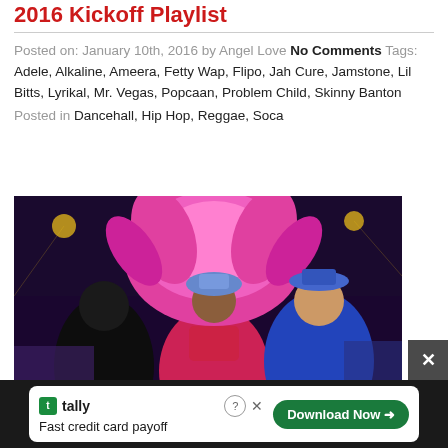2016 Kickoff Playlist
Posted on: January 10th, 2016 by Angel Love No Comments Tags: Adele, Alkaline, Ameera, Fetty Wap, Flipo, Jah Cure, Jamstone, Lil Bitts, Lyrikal, Mr. Vegas, Popcaan, Problem Child, Skinny Banton
Posted in Dancehall, Hip Hop, Reggae, Soca
[Figure (photo): People in carnival costumes dancing at an outdoor event. A woman in pink feathered costume and a man in blue outfit are featured prominently.]
[Figure (screenshot): Advertisement banner for Tally app: Fast credit card payoff. Download Now button.]